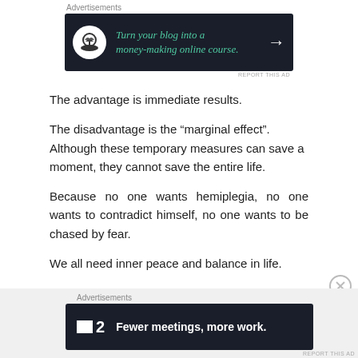[Figure (screenshot): Advertisement banner: dark background with bonsai tree icon in white circle, teal italic text 'Turn your blog into a money-making online course.' with white arrow]
The advantage is immediate results.
The disadvantage is the “marginal effect”. Although these temporary measures can save a moment, they cannot save the entire life.
Because no one wants hemiplegia, no one wants to contradict himself, no one wants to be chased by fear.
We all need inner peace and balance in life.
[Figure (screenshot): Advertisement banner: dark background with Focusplan logo (F2) and bold white text 'Fewer meetings, more work.']